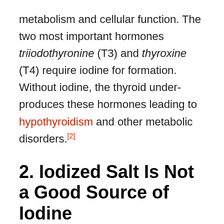metabolism and cellular function. The two most important hormones triiodothyronine (T3) and thyroxine (T4) require iodine for formation. Without iodine, the thyroid under-produces these hormones leading to hypothyroidism and other metabolic disorders.[2]
2. Iodized Salt Is Not a Good Source of Iodine
Most table salt has been iodized in an effort to eliminate iodine deficiency. Unfortunately, the process of manufacturing this salt can include adding artificial versions of iodine and other